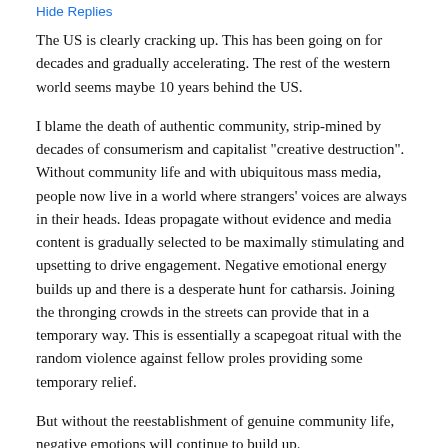Hide Replies
The US is clearly cracking up. This has been going on for decades and gradually accelerating. The rest of the western world seems maybe 10 years behind the US.
I blame the death of authentic community, strip-mined by decades of consumerism and capitalist "creative destruction". Without community life and with ubiquitous mass media, people now live in a world where strangers' voices are always in their heads. Ideas propagate without evidence and media content is gradually selected to be maximally stimulating and upsetting to drive engagement. Negative emotional energy builds up and there is a desperate hunt for catharsis. Joining the thronging crowds in the streets can provide that in a temporary way. This is essentially a scapegoat ritual with the random violence against fellow proles providing some temporary relief.
But without the reestablishment of genuine community life, negative emotions will continue to build up.
carter